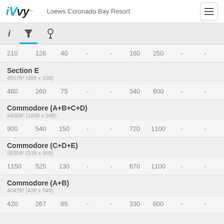iVvy – Loews Coronado Bay Resort
210  126  40  -  -  160  250  -  -
Section E
4557ft² (49ft x 93ft)
460  260  75  -  -  340  600  -  -
Commodore (A+B+C+D)
9400ft² (100ft x 94ft)
900  540  150  -  -  720  1100  -  -
Commodore (C+D+E)
8835ft² (93ft x 95ft)
1150  525  130  -  -  670  1100  -  -
Commodore (A+B)
4042ft² (43ft x 94ft)
420  267  65  -  -  330  600  -  -